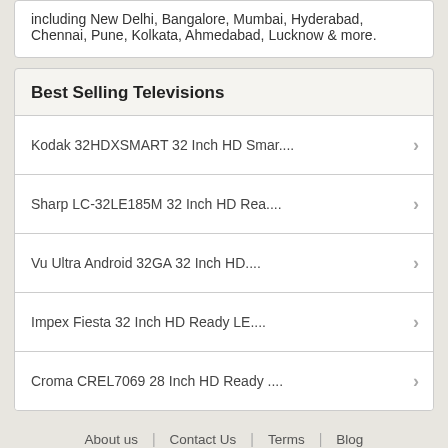including New Delhi, Bangalore, Mumbai, Hyderabad, Chennai, Pune, Kolkata, Ahmedabad, Lucknow & more.
Best Selling Televisions
Kodak 32HDXSMART 32 Inch HD Smar....
Sharp LC-32LE185M 32 Inch HD Rea....
Vu Ultra Android 32GA 32 Inch HD....
Impex Fiesta 32 Inch HD Ready LE....
Croma CREL7069 28 Inch HD Ready ....
About us | Contact Us | Terms | Blog
Copyright © 2019 Logicserve Technologies Pvt. Ltd. Venture